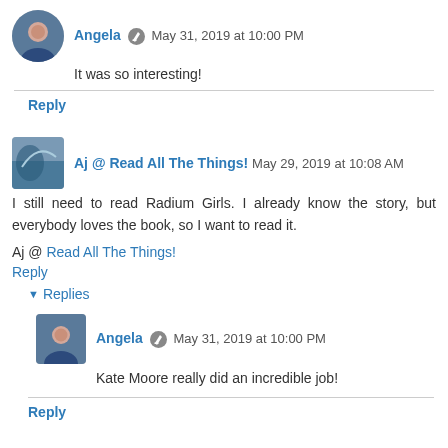Angela · May 31, 2019 at 10:00 PM
It was so interesting!
Reply
Aj @ Read All The Things! May 29, 2019 at 10:08 AM
I still need to read Radium Girls. I already know the story, but everybody loves the book, so I want to read it.
Aj @ Read All The Things!
Reply
▾ Replies
Angela · May 31, 2019 at 10:00 PM
Kate Moore really did an incredible job!
Reply